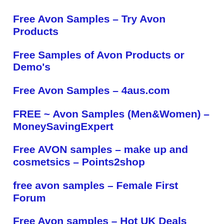Free Avon Samples – Try Avon Products
Free Samples of Avon Products or Demo's
Free Avon Samples – 4aus.com
FREE ~ Avon Samples (Men&Women) – MoneySavingExpert
Free AVON samples – make up and cosmetsics – Points2shop
free avon samples – Female First Forum
Free Avon samples – Hot UK Deals